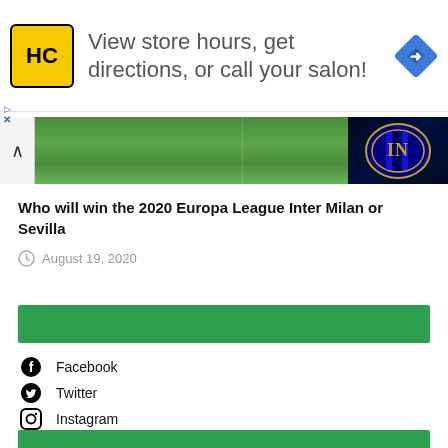[Figure (screenshot): Ad banner with HC logo, text 'View store hours, get directions, or call your salon!', and a blue navigation diamond icon]
[Figure (photo): Football pitch with Inter Milan badge in the top right corner]
Who will win the 2020 Europa League Inter Milan or Sevilla
August 19, 2020
[Figure (other): Green horizontal bar]
Facebook
Twitter
Instagram
Youtube
RSS